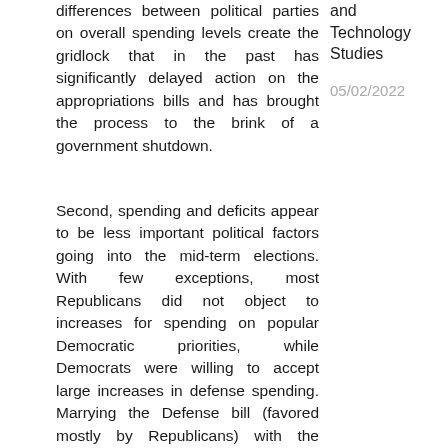differences between political parties on overall spending levels create the gridlock that in the past has significantly delayed action on the appropriations bills and has brought the process to the brink of a government shutdown.
and Technology Studies
05/02/2022
Second, spending and deficits appear to be less important political factors going into the mid-term elections. With few exceptions, most Republicans did not object to increases for spending on popular Democratic priorities, while Democrats were willing to accept large increases in defense spending. Marrying the Defense bill (favored mostly by Republicans) with the Labor-HHS bill (favored